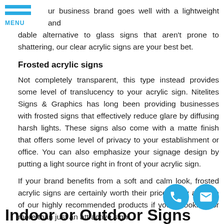ur business brand goes well with a lightweight and dable alternative to glass signs that aren't prone to shattering, our clear acrylic signs are your best bet.
Frosted acrylic signs
Not completely transparent, this type instead provides some level of translucency to your acrylic sign. Nitelites Signs & Graphics has long been providing businesses with frosted signs that effectively reduce glare by diffusing harsh lights. These signs also come with a matte finish that offers some level of privacy to your establishment or office. You can also emphasize your signage design by putting a light source right in front of your acrylic sign.
If your brand benefits from a soft and calm look, frosted acrylic signs are certainly worth their price. They are one of our highly recommended products if you're looking for more than just an attractive sign.
Indoor or Outdoor Signs